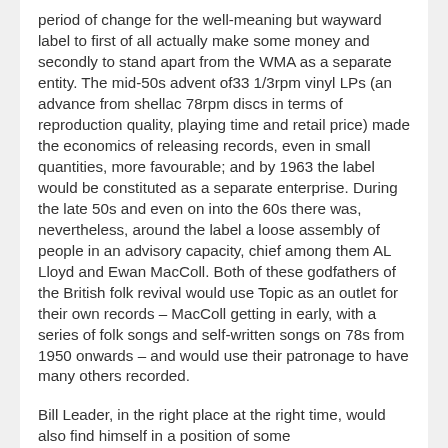period of change for the well-meaning but wayward label to first of all actually make some money and secondly to stand apart from the WMA as a separate entity. The mid-50s advent of33 1/3rpm vinyl LPs (an advance from shellac 78rpm discs in terms of reproduction quality, playing time and retail price) made the economics of releasing records, even in small quantities, more favourable; and by 1963 the label would be constituted as a separate enterprise. During the late 50s and even on into the 60s there was, nevertheless, around the label a loose assembly of people in an advisory capacity, chief among them AL Lloyd and Ewan MacColl. Both of these godfathers of the British folk revival would use Topic as an outlet for their own records – MacColl getting in early, with a series of folk songs and self-written songs on 78s from 1950 onwards – and would use their patronage to have many others recorded.
Bill Leader, in the right place at the right time, would also find himself in a position of some influence himself as to whom and what was recorded:
I think Topic saw [by the mid-50s] that there was a possibility